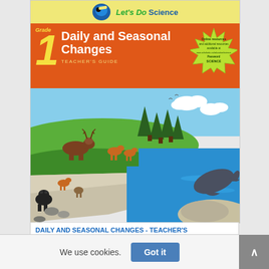[Figure (illustration): Book cover for 'Daily and Seasonal Changes – Teacher's Guide, Grade 1' from Let's Do Science series. Features an orange title bar with grade number 1, a starburst badge with online access info, and an illustrated nature scene showing forest, moose, fox, bear, whale, ocean, and rocky terrain.]
DAILY AND SEASONAL CHANGES - TEACHER'S GUIDE1GRADE -
We use cookies.